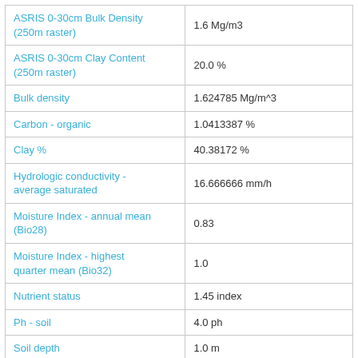| Property | Value |
| --- | --- |
| ASRIS 0-30cm Bulk Density (250m raster) | 1.6 Mg/m3 |
| ASRIS 0-30cm Clay Content (250m raster) | 20.0 % |
| Bulk density | 1.624785 Mg/m^3 |
| Carbon - organic | 1.0413387 % |
| Clay % | 40.38172 % |
| Hydrologic conductivity - average saturated | 16.666666 mm/h |
| Moisture Index - annual mean (Bio28) | 0.83 |
| Moisture Index - highest quarter mean (Bio32) | 1.0 |
| Nutrient status | 1.45 index |
| Ph - soil | 4.0 ph |
| Soil depth | 1.0 m |